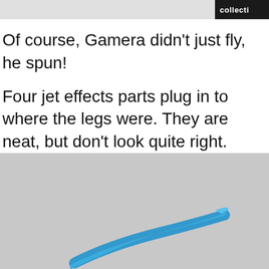collecti
Of course, Gamera didn't just fly, he spun!

Four jet effects parts plug in to where the legs were. They are neat, but don't look quite right. Maybe the angles are wrong?
[Figure (photo): Photo of a blue jet/flame effect part against a light grey background, partially visible at the bottom of the page.]